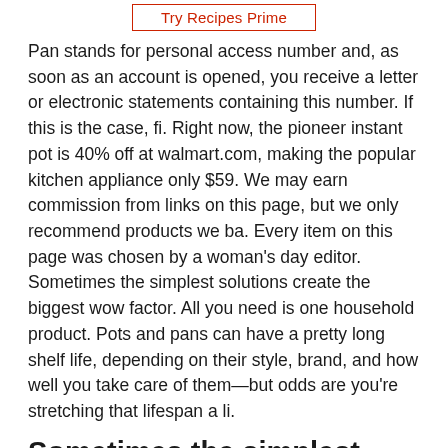[Figure (other): Red-bordered button/link labeled 'Try Recipes Prime']
Pan stands for personal access number and, as soon as an account is opened, you receive a letter or electronic statements containing this number. If this is the case, fi. Right now, the pioneer instant pot is 40% off at walmart.com, making the popular kitchen appliance only $59. We may earn commission from links on this page, but we only recommend products we ba. Every item on this page was chosen by a woman's day editor. Sometimes the simplest solutions create the biggest wow factor. All you need is one household product. Pots and pans can have a pretty long shelf life, depending on their style, brand, and how well you take care of them—but odds are you're stretching that lifespan a li.
Sometimes the simplest solutions create the biggest wow factor